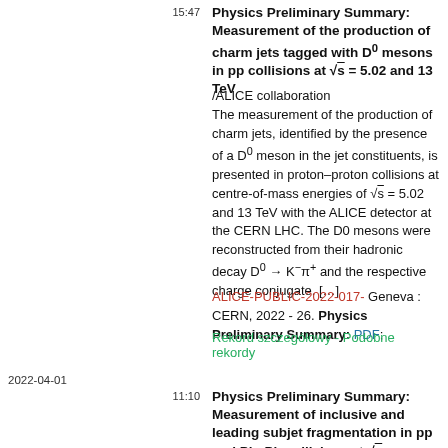15:47
Physics Preliminary Summary: Measurement of the production of charm jets tagged with D⁰ mesons in pp collisions at √s = 5.02 and 13 TeV
/ALICE collaboration
The measurement of the production of charm jets, identified by the presence of a D⁰ meson in the jet constituents, is presented in proton–proton collisions at centre-of-mass energies of √s = 5.02 and 13 TeV with the ALICE detector at the CERN LHC. The D0 mesons were reconstructed from their hadronic decay D⁰ → K⁻π⁺ and the respective charge conjugate. [...]
ALICE-PUBLIC-2022-017- Geneva : CERN, 2022 - 26. Physics Preliminary Summary: PDF;
Rekord szczegółowy - Podobne rekordy
2022-04-01
11:10
Physics Preliminary Summary: Measurement of inclusive and leading subjet fragmentation in pp and Pb–Pb collisions at √s_NN = 5.02 TeV /ALICE